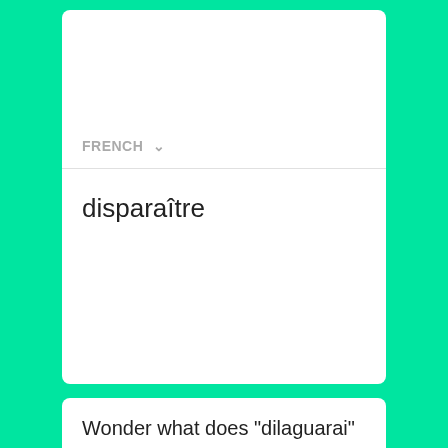FRENCH
disparaître
Wonder what does "dilaguarai"